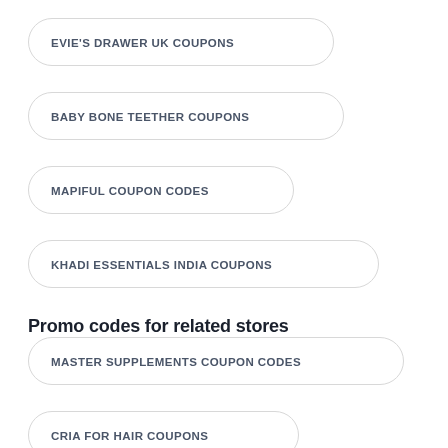EVIE'S DRAWER UK COUPONS
BABY BONE TEETHER COUPONS
MAPIFUL COUPON CODES
KHADI ESSENTIALS INDIA COUPONS
Promo codes for related stores
MASTER SUPPLEMENTS COUPON CODES
CRIA FOR HAIR COUPONS
PAM & GLORY UK COUPONS